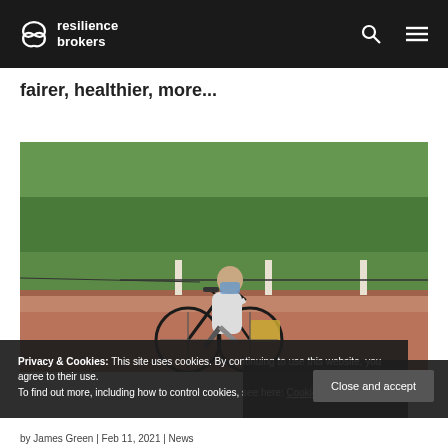resilience brokers
fairer, healthier, more...
[Figure (photo): A person riding a bicycle on a wide road with trees and green lawn in the background. The cyclist is wearing a face mask and a white long-sleeve shirt, carrying bags on the rear rack.]
Privacy & Cookies: This site uses cookies. By continuing to use this website, you agree to their use.
To find out more, including how to control cookies, see here: Cookie Policy
Close and accept
by James Green | Feb 11, 2021 | News